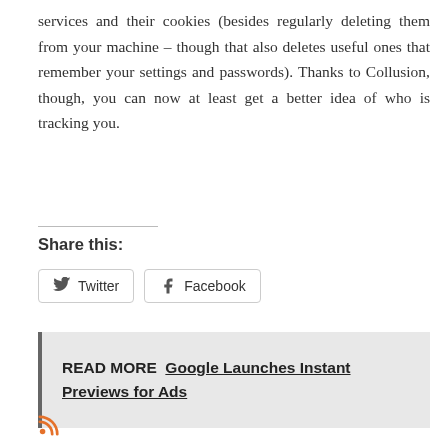services and their cookies (besides regularly deleting them from your machine – though that also deletes useful ones that remember your settings and passwords). Thanks to Collusion, though, you can now at least get a better idea of who is tracking you.
Share this:
[Figure (other): Twitter and Facebook share buttons]
READ MORE  Google Launches Instant Previews for Ads